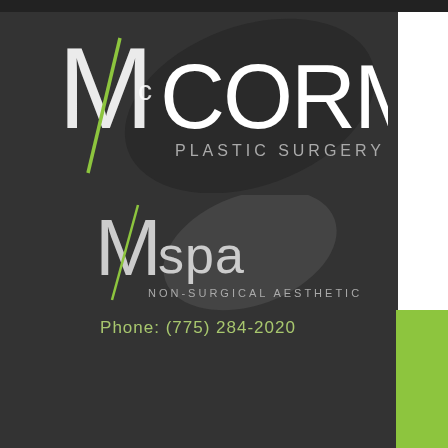[Figure (logo): McCORMACK PLASTIC SURGERY logo with stylized M and leaf graphic in dark gray/white]
[Figure (logo): M spa NON-SURGICAL AESTHETICS logo with stylized M and leaf in gray tones]
Phone: (775) 284-2020
Menu | Gallery | Contact
SHOP M SPA
Breast Lift
21  How Do Breasts